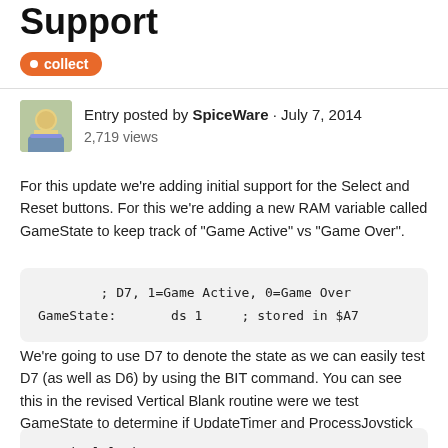Support
collect
Entry posted by SpiceWare · July 7, 2014
2,719 views
For this update we're adding initial support for the Select and Reset buttons. For this we're adding a new RAM variable called GameState to keep track of "Game Active" vs "Game Over".
; D7, 1=Game Active, 0=Game Over
GameState:       ds 1     ; stored in $A7
We're going to use D7 to denote the state as we can easily test D7 (as well as D6) by using the BIT command. You can see this in the revised Vertical Blank routine were we test GameState to determine if UpdateTimer and ProcessJoystick should be skipped over:
VerticalBlank: